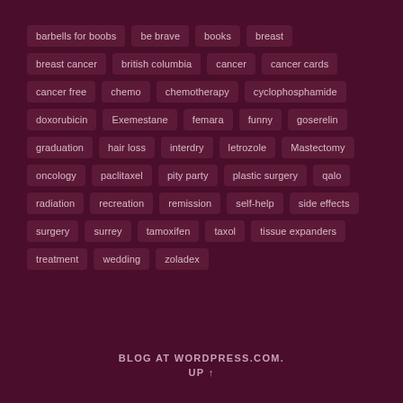[Figure (other): Tag cloud of medical/blog related terms displayed as pill-shaped buttons on a dark maroon background. Tags include: barbells for boobs, be brave, books, breast, breast cancer, british columbia, cancer, cancer cards, cancer free, chemo, chemotherapy, cyclophosphamide, doxorubicin, Exemestane, femara, funny, goserelin, graduation, hair loss, interdry, letrozole, Mastectomy, oncology, paclitaxel, pity party, plastic surgery, qalo, radiation, recreation, remission, self-help, side effects, surgery, surrey, tamoxifen, taxol, tissue expanders, treatment, wedding, zoladex]
BLOG AT WORDPRESS.COM.
UP ↑